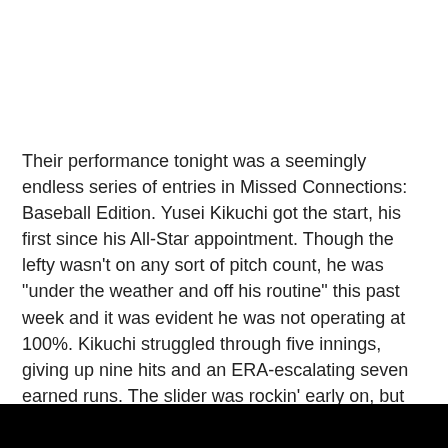Their performance tonight was a seemingly endless series of entries in Missed Connections: Baseball Edition. Yusei Kikuchi got the start, his first since his All-Star appointment. Though the lefty wasn't on any sort of pitch count, he was "under the weather and off his routine" this past week and it was evident he was not operating at 100%. Kikuchi struggled through five innings, giving up nine hits and an ERA-escalating seven earned runs. The slider was rockin' early on, but the cutter was…uh…not.
[Figure (photo): Black bar at the bottom of the page, likely the top of an image below.]